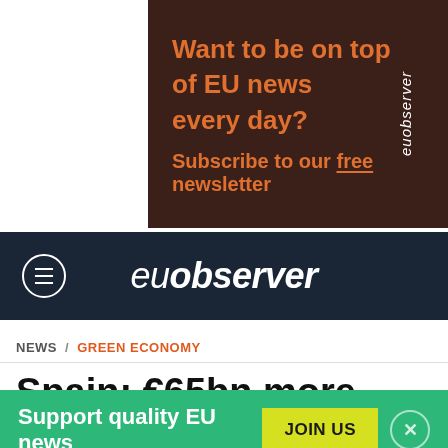[Figure (screenshot): EUobserver advertisement banner with dark brown background. Text reads 'Want to be on top of EU news every day?' and 'Subscribe to our free newsletter' in orange bold text. Vertical 'euobserver' watermark on right side.]
euobserver
NEWS / GREEN ECONOMY
Spain: €65bn more cuts, despite protests
[Figure (photo): Partial photograph of a protest scene with reddish-orange tones]
Support quality EU news JOIN US